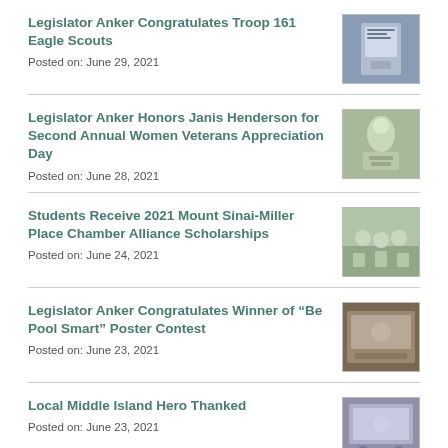Legislator Anker Congratulates Troop 161 Eagle Scouts
Posted on: June 29, 2021
Legislator Anker Honors Janis Henderson for Second Annual Women Veterans Appreciation Day
Posted on: June 28, 2021
Students Receive 2021 Mount Sinai-Miller Place Chamber Alliance Scholarships
Posted on: June 24, 2021
Legislator Anker Congratulates Winner of “Be Pool Smart” Poster Contest
Posted on: June 23, 2021
Local Middle Island Hero Thanked
Posted on: June 23, 2021